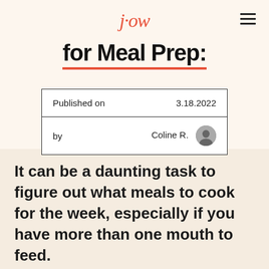jow
for Meal Prep:
| Published on | 3.18.2022 |
| by | Coline R. |
It can be a daunting task to figure out what meals to cook for the week, especially if you have more than one mouth to feed.